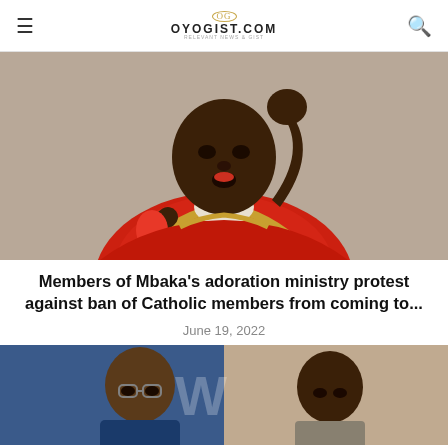OYOGIST.COM
[Figure (photo): A man in red and gold vestments raising his fist while holding a microphone]
Members of Mbaka’s adoration ministry protest against ban of Catholic members from coming to...
June 19, 2022
[Figure (photo): Two men side by side, one wearing glasses in front of a blue background with a 'W' logo, the other in casual clothing]